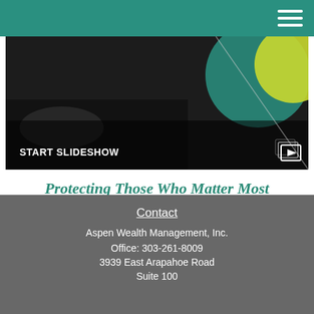[Figure (screenshot): Dark slideshow banner image with hands touching a screen, teal and lime decorative circles, and 'START SLIDESHOW' label with a slideshow icon in the bottom right]
Protecting Those Who Matter Most
The importance of life insurance, how it works, and how much coverage you need.
Contact
Aspen Wealth Management, Inc.
Office: 303-261-8009
3939 East Arapahoe Road
Suite 100